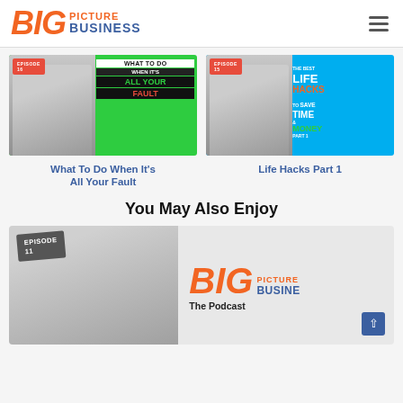BIG PICTURE BUSINESS
[Figure (photo): Podcast episode thumbnail: Episode 16 'What To Do When It's All Your Fault' with two hosts on green background]
[Figure (photo): Podcast episode thumbnail: Episode 15 'The Best Life Hacks To Save Time & Money Part 1' with two hosts on blue background]
What To Do When It's All Your Fault
Life Hacks Part 1
You May Also Enjoy
[Figure (photo): Podcast episode card: Episode 11 Big Picture Business The Podcast with two hosts and logo]